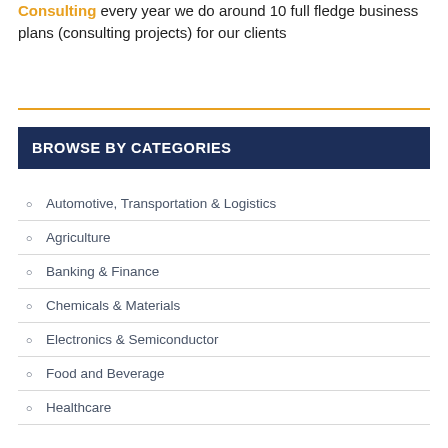Consulting every year we do around 10 full fledge business plans (consulting projects) for our clients
BROWSE BY CATEGORIES
Automotive, Transportation & Logistics
Agriculture
Banking & Finance
Chemicals & Materials
Electronics & Semiconductor
Food and Beverage
Healthcare